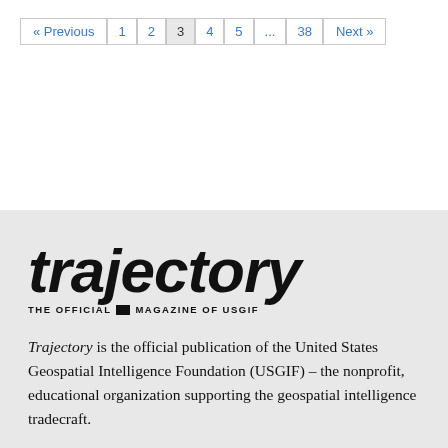« Previous  1  2  3  4  5  ...  38  Next »
[Figure (logo): Trajectory magazine logo — large italic sans-serif text reading 'trajectory' with tagline 'THE OFFICIAL [icon] MAGAZINE OF USGIF']
Trajectory is the official publication of the United States Geospatial Intelligence Foundation (USGIF) – the nonprofit, educational organization supporting the geospatial intelligence tradecraft.
Follow Trajectory